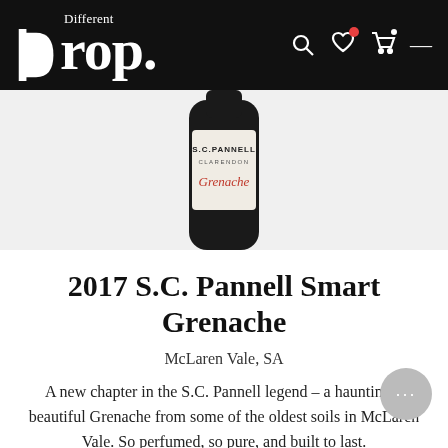Different drop.
[Figure (photo): Wine bottle of S.C. Pannell Clarendon Grenache, showing the upper portion of a dark bottle with cream label]
2017 S.C. Pannell Smart Grenache
McLaren Vale, SA
A new chapter in the S.C. Pannell legend – a hauntingly beautiful Grenache from some of the oldest soils in McLaren Vale. So perfumed, so pure, and built to last.